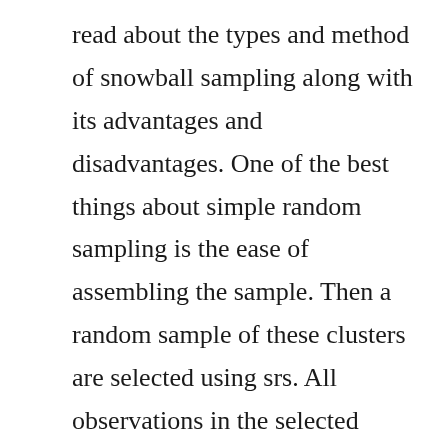read about the types and method of snowball sampling along with its advantages and disadvantages. One of the best things about simple random sampling is the ease of assembling the sample. Then a random sample of these clusters are selected using srs. All observations in the selected clusters are included in the sample. Difference between probability and nonprobability sampling.
Explanation about this sampling with example, its advantages and disadvantages are discussed. Research is a scientific process of